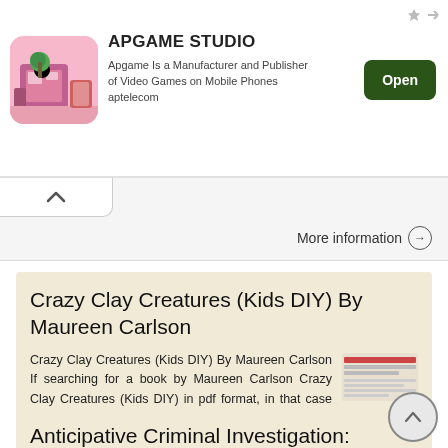[Figure (screenshot): APGAME STUDIO advertisement banner with app icon showing a colorful game scene, Open button, and ad attribution symbols]
More information ➔
Crazy Clay Creatures (Kids DIY) By Maureen Carlson
Crazy Clay Creatures (Kids DIY) By Maureen Carlson If searching for a book by Maureen Carlson Crazy Clay Creatures (Kids DIY) in pdf format, in that case you come on to the loyal site. We present the complete
More information ➔
Anticipative Criminal Investigation: Theory And Counterterrorism Practice In The